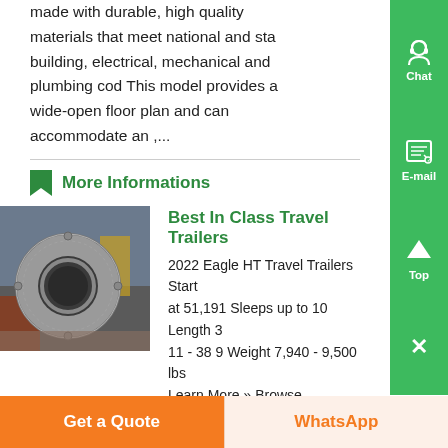made with durable, high quality materials that meet national and state building, electrical, mechanical and plumbing cod This model provides a wide-open floor plan and can accommodate an ,...
More Informations
Best In Class Travel Trailers
[Figure (photo): Industrial metal ring or flange part on a workbench]
2022 Eagle HT Travel Trailers Start at 51,191 Sleeps up to 10 Length 3 11 - 38 9 Weight 7,940 - 9,500 lbs Learn More » Browse Floorplans ».
Get a Quote
WhatsApp